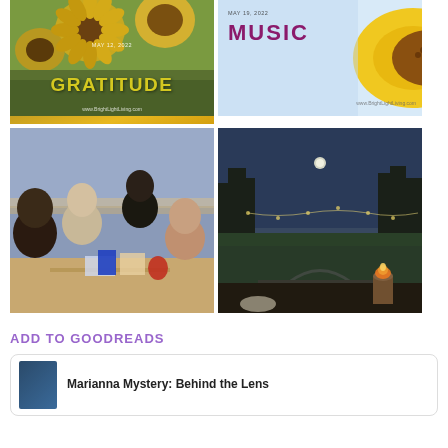[Figure (photo): Sunflower field photo card with text GRATITUDE, date MAY 12, 2022, and www.BrightLightLiving.com]
[Figure (photo): Sunflower close-up photo card with text MUSIC, date MAY 19, 2022, and www.BrightLightLiving.com]
[Figure (photo): Group of people sitting at an outdoor table near water]
[Figure (photo): Evening outdoor scene with blue sky, trees, lawn, and a candle on a surface]
ADD TO GOODREADS
Marianna Mystery: Behind the Lens